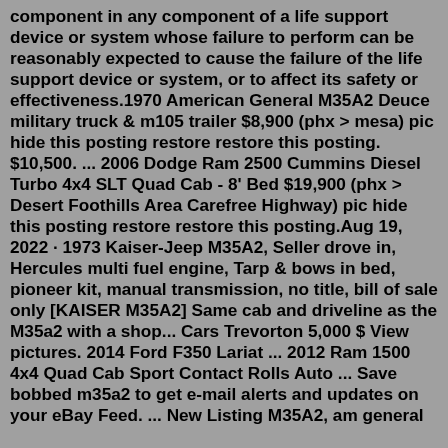component in any component of a life support device or system whose failure to perform can be reasonably expected to cause the failure of the life support device or system, or to affect its safety or effectiveness.1970 American General M35A2 Deuce military truck & m105 trailer $8,900 (phx > mesa) pic hide this posting restore restore this posting. $10,500. ... 2006 Dodge Ram 2500 Cummins Diesel Turbo 4x4 SLT Quad Cab - 8' Bed $19,900 (phx > Desert Foothills Area Carefree Highway) pic hide this posting restore restore this posting.Aug 19, 2022 · 1973 Kaiser-Jeep M35A2, Seller drove in, Hercules multi fuel engine, Tarp & bows in bed, pioneer kit, manual transmission, no title, bill of sale only [KAISER M35A2] Same cab and driveline as the M35a2 with a shop... Cars Trevorton 5,000 $ View pictures. 2014 Ford F350 Lariat ... 2012 Ram 1500 4x4 Quad Cab Sport Contact Rolls Auto ... Save bobbed m35a2 to get e-mail alerts and updates on your eBay Feed. ... New Listing M35A2, am general